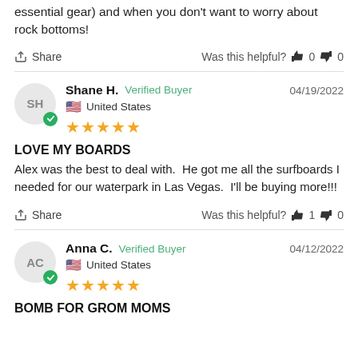essential gear) and when you don't want to worry about rock bottoms!
Share  Was this helpful?  👍 0  👎 0
Shane H.  Verified Buyer  04/19/2022  United States  ★★★★★
LOVE MY BOARDS
Alex was the best to deal with.  He got me all the surfboards I needed for our waterpark in Las Vegas.  I'll be buying more!!!
Share  Was this helpful?  👍 1  👎 0
Anna C.  Verified Buyer  04/12/2022  United States  ★★★★★
BOMB FOR GROM MOMS